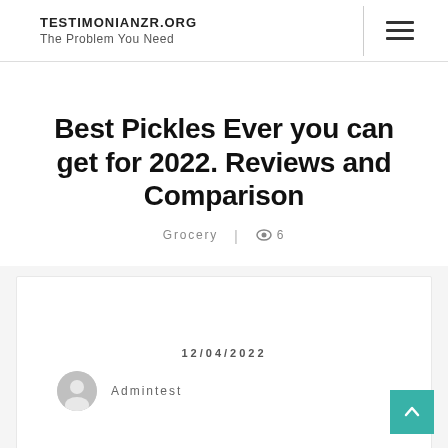TESTIMONIANZR.ORG | The Problem You Need
Best Pickles Ever you can get for 2022. Reviews and Comparison
Grocery | 👁 6
12/04/2022
Admintest